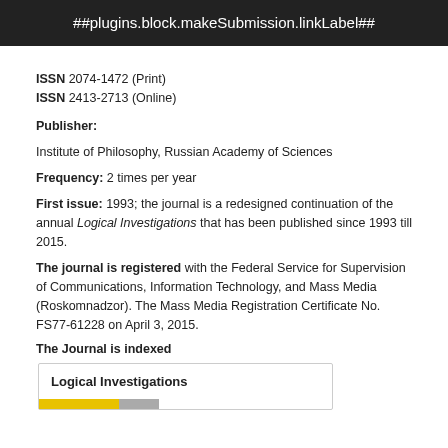##plugins.block.makeSubmission.linkLabel##
ISSN 2074-1472 (Print)
ISSN 2413-2713 (Online)
Publisher:
Institute of Philosophy, Russian Academy of Sciences
Frequency: 2 times per year
First issue: 1993; the journal is a redesigned continuation of the annual Logical Investigations that has been published since 1993 till 2015.
The journal is registered with the Federal Service for Supervision of Communications, Information Technology, and Mass Media (Roskomnadzor). The Mass Media Registration Certificate No. FS77-61228 on April 3, 2015.
The Journal is indexed
Logical Investigations